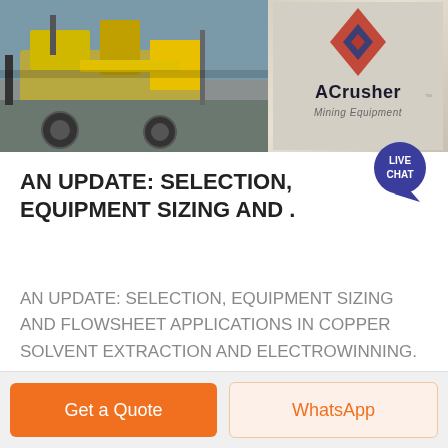[Figure (photo): Banner image showing industrial mining equipment (yellow machinery) on the left, and ACrusher Mining Equipment logo on the right with a diamond-shaped logo icon.]
AN UPDATE: SELECTION, EQUIPMENT SIZING AND .
AN UPDATE: SELECTION, EQUIPMENT SIZING AND FLOWSHEET APPLICATIONS IN COPPER SOLVENT EXTRACTION AND ELECTROWINNING. CorbyG. Anderson1, Mike A.Giralico2,Thomas A.Post3,TimG.Robinson4 andOwenS ...
Get Price
Get a Quote
WhatsApp